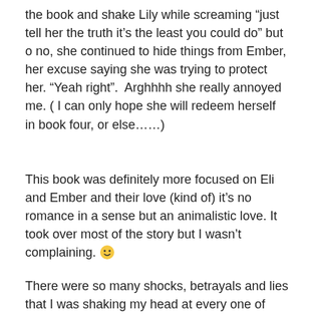the book and shake Lily while screaming “just tell her the truth it's the least you could do” but o no, she continued to hide things from Ember, her excuse saying she was trying to protect her. “Yeah right”.  Arghhhh she really annoyed me. ( I can only hope she will redeem herself in book four, or else……)
This book was definitely more focused on Eli and Ember and their love (kind of) it's no romance in a sense but an animalistic love. It took over most of the story but I wasn't complaining. 🙂
There were so many shocks, betrayals and lies that I was shaking my head at every one of them, I really don’t know how Ember stays sane, or how she can keep up with who